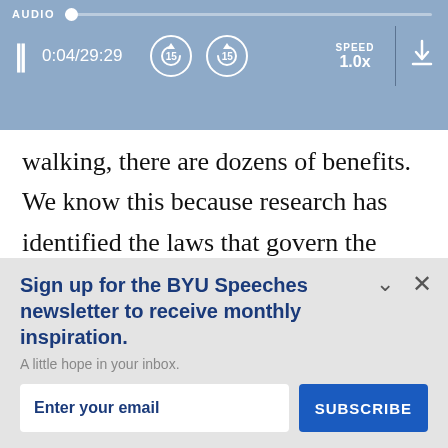[Figure (screenshot): Audio player bar showing AUDIO label, progress track, pause button, time 0:04/29:29, rewind 15s, forward 15s, SPEED 1.0x, download button, and vertical separator]
walking, there are dozens of benefits. We know this because research has identified the laws that govern the effects of exercise on the body. In short, our day-to-day choices hav significant consequences on the body. Even n
Sign up for the BYU Speeches newsletter to receive monthly inspiration.
A little hope in your inbox.
Enter your email
SUBSCRIBE